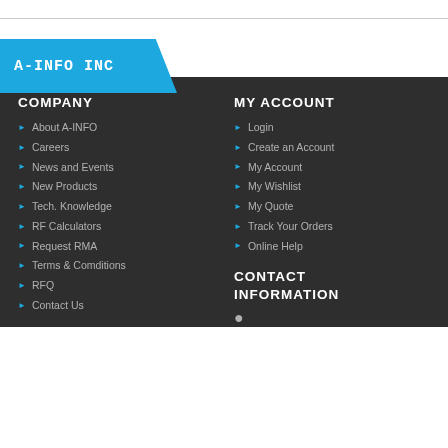[Figure (logo): A-INFO INC logo on blue badge background]
COMPANY
About A-INFO
Careers
News and Events
New Products
Tech. Knowledge
RF Calculators
Request RMA
Terms & Comditions
RFQ
Contact Us
MY ACCOUNT
Login
Create an Account
My Account
My Wishlist
My Quote
Track Your Orders
Online Help
CONTACT INFORMATION